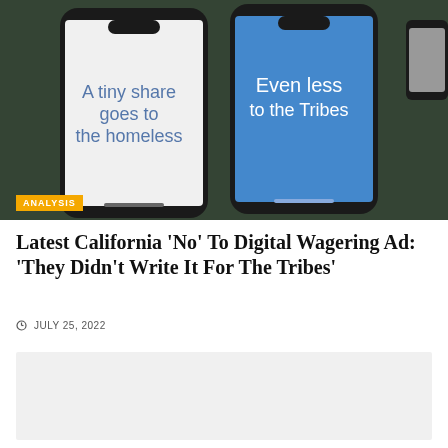[Figure (photo): Two smartphones displayed side by side against a dark background. Left phone has white screen with text 'A tiny share goes to the homeless'. Right phone has blue screen with text 'Even less to the Tribes'. An 'ANALYSIS' badge appears at bottom left of the image.]
Latest California 'No' To Digital Wagering Ad: 'They Didn't Write It For The Tribes'
JULY 25, 2022